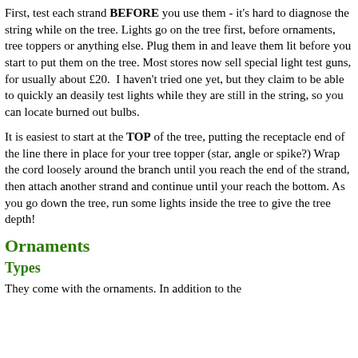First, test each strand BEFORE you use them - it's hard to diagnose the string while on the tree. Lights go on the tree first, before ornaments,  tree toppers or anything else. Plug them in and leave them lit before you start to put them on the tree. Most stores now sell special light test guns, for usually about £20.  I haven't tried one yet, but they claim to be able to quickly an deasily test lights while they are still in the string, so you can locate burned out bulbs.
It is easiest to start at the TOP of the tree, putting the receptacle end of the line there in place for your tree topper (star, angle or spike?) Wrap the cord loosely around the branch until you reach the end of the strand, then attach another strand and continue until your reach the bottom. As you go down the tree, run some lights inside the tree to give the tree depth!
Ornaments
Types
They come with the ornaments. In addition to the